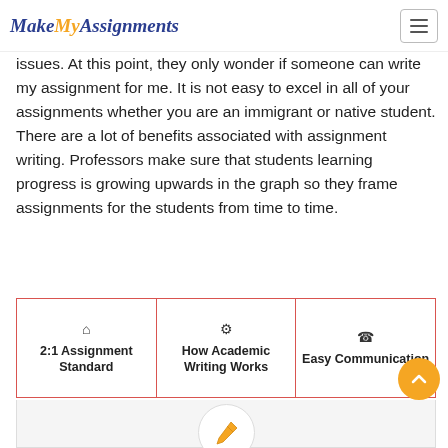MakeMyAssignments
issues. At this point, they only wonder if someone can write my assignment for me. It is not easy to excel in all of your assignments whether you are an immigrant or native student. There are a lot of benefits associated with assignment writing. Professors make sure that students learning progress is growing upwards in the graph so they frame assignments for the students from time to time.
2:1 Assignment Standard
How Academic Writing Works
Easy Communication